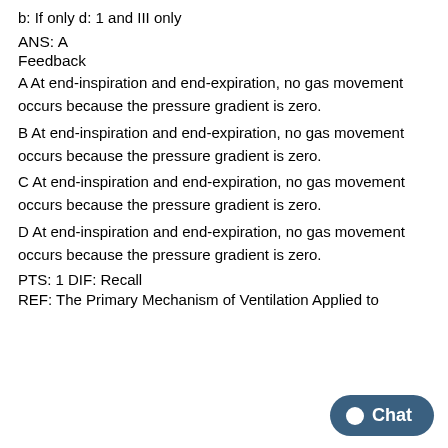b: If only d: 1 and III only
ANS: A
Feedback
A At end-inspiration and end-expiration, no gas movement occurs because the pressure gradient is zero.
B At end-inspiration and end-expiration, no gas movement occurs because the pressure gradient is zero.
C At end-inspiration and end-expiration, no gas movement occurs because the pressure gradient is zero.
D At end-inspiration and end-expiration, no gas movement occurs because the pressure gradient is zero.
PTS: 1 DIF: Recall
REF: The Primary Mechanism of Ventilation Applied to